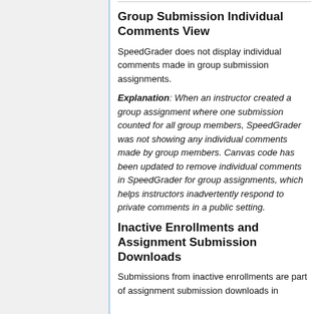Group Submission Individual Comments View
SpeedGrader does not display individual comments made in group submission assignments.
Explanation: When an instructor created a group assignment where one submission counted for all group members, SpeedGrader was not showing any individual comments made by group members. Canvas code has been updated to remove individual comments in SpeedGrader for group assignments, which helps instructors inadvertently respond to private comments in a public setting.
Inactive Enrollments and Assignment Submission Downloads
Submissions from inactive enrollments are part of assignment submission downloads in